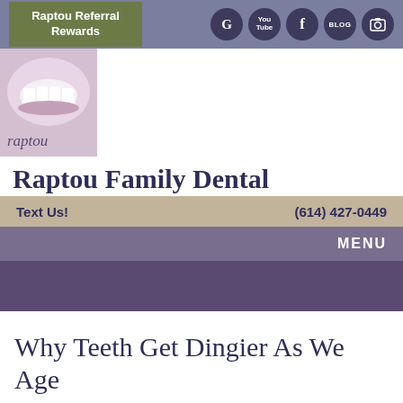Raptou Referral Rewards
[Figure (logo): Raptou dental logo with smiling teeth image and text 'raptou']
Raptou Family Dental
Text Us!   (614) 427-0449
MENU
Why Teeth Get Dingier As We Age